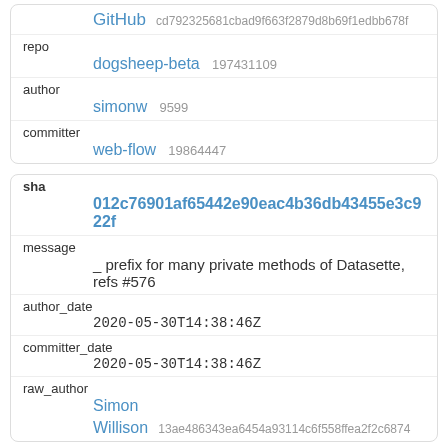| GitHub | cd792325681cbad9f663f2879d8b69f1edbb678f |
| repo | dogsheep-beta 197431109 |
| author | simonw 9599 |
| committer | web-flow 19864447 |
| sha | 012c76901af65442e90eac4b36db43455e3c922f |
| message | _ prefix for many private methods of Datasette, refs #576 |
| author_date | 2020-05-30T14:38:46Z |
| committer_date | 2020-05-30T14:38:46Z |
| raw_author | Simon
Willison 13ae486343ea6454a93114c6f558ffea2f2c6874 |